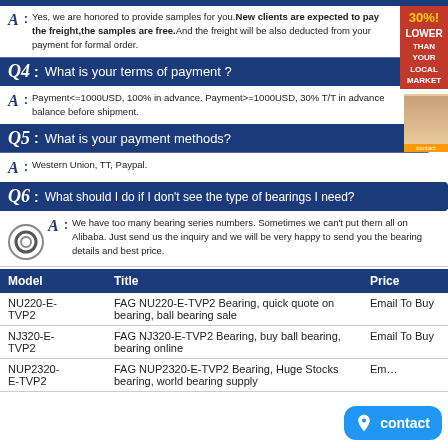A: Yes, we are honored to provide samples for you. New clients are expected to pay the freight,the samples are free.And the freight will be also deducted from your payment for formal order.
Q4: What is your terms of payment ?
A: Payment<=1000USD, 100% in advance. Payment>=1000USD, 30% T/T in advance balance before shipment.
Q5: What is your payment methods?
A: Western Union, TT, Paypal.
Q6: What should I do if I don't see the type of bearings I need?
A: We have too many bearing series numbers. Sometimes we can't put them all on Alibaba. Just send us the inquiry and we will be very happy to send you the bearing details and best price.
| Model | Title | Price |
| --- | --- | --- |
| NU220-E-TVP2 | FAG NU220-E-TVP2 Bearing, quick quote on bearing, ball bearing sale | Email To Buy |
| NJ320-E-TVP2 | FAG NJ320-E-TVP2 Bearing, buy ball bearing, bearing online | Email To Buy |
| NUP2320-E-TVP2 | FAG NUP2320-E-TVP2 Bearing, Huge Stocks bearing, world bearing supply | Email To Buy |